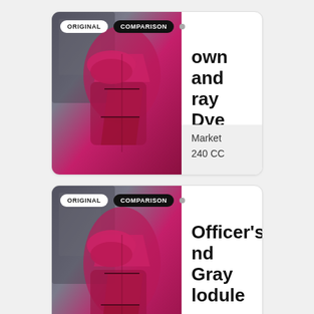[Figure (screenshot): Card 1: Game item card showing armor image on left with ORIGINAL and COMPARISON badges, title text 'own and ray Dye dule' (partially cropped), Market price 240 CC]
[Figure (screenshot): Card 2: Game item card showing armor image on left with ORIGINAL and COMPARISON badges, title text 'Officer's nd Gray lodule' (partially cropped), Market price 360 CC]
[Figure (screenshot): Card 3: Game item card showing armor image on left with ORIGINAL and COMPARISON badges, title text 'Settler's' (partially cropped, card cut off)]